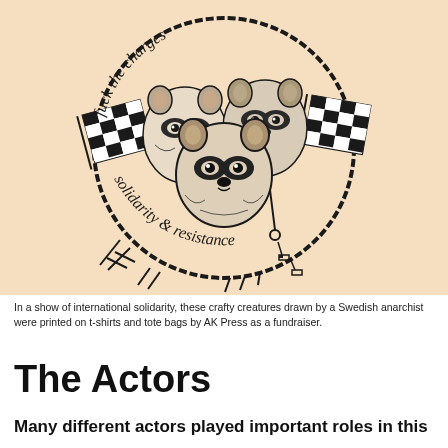[Figure (illustration): Black and white illustration on a peach/beige background showing three raccoons inside a circle of barbed wire. The raccoons are holding checkered anarchist flags. Text curved along the top of the circle reads 'fuck the charges' and text at the bottom reads 'solidarity & resistance'.]
In a show of international solidarity, these crafty creatures drawn by a Swedish anarchist were printed on t-shirts and tote bags by AK Press as a fundraiser.
The Actors
Many different actors played important roles in this